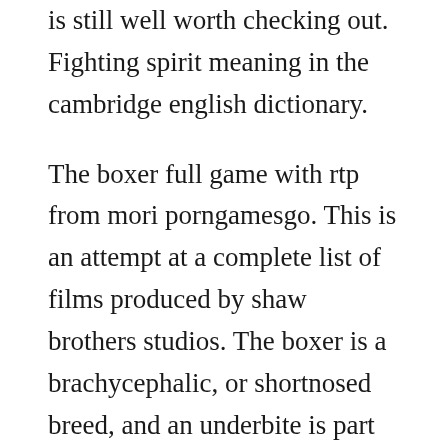is still well worth checking out. Fighting spirit meaning in the cambridge english dictionary.
The boxer full game with rtp from mori porngamesgo. This is an attempt at a complete list of films produced by shaw brothers studios. The boxer is a brachycephalic, or shortnosed breed, and an underbite is part of the breed standard. Of the essence of christian perfection of the struggle requisite for its attainment and of the four things needful in this con ict. Games are quite stunning when you require a time off from stress and work.